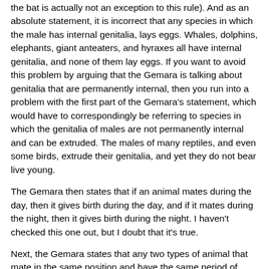the bat is actually not an exception to this rule). And as an absolute statement, it is incorrect that any species in which the male has internal genitalia, lays eggs. Whales, dolphins, elephants, giant anteaters, and hyraxes all have internal genitalia, and none of them lay eggs. If you want to avoid this problem by arguing that the Gemara is talking about genitalia that are permanently internal, then you run into a problem with the first part of the Gemara's statement, which would have to correspondingly be referring to species in which the genitalia of males are not permanently internal and can be extruded. The males of many reptiles, and even some birds, extrude their genitalia, and yet they do not bear live young.
The Gemara then states that if an animal mates during the day, then it gives birth during the day, and if it mates during the night, then it gives birth during the night. I haven't checked this one out, but I doubt that it's true.
Next, the Gemara states that any two types of animal that mate in the same position and have the same period of gestation, can interbreed. This is clearly not true. Countless species are identical in these details and yet are genetically